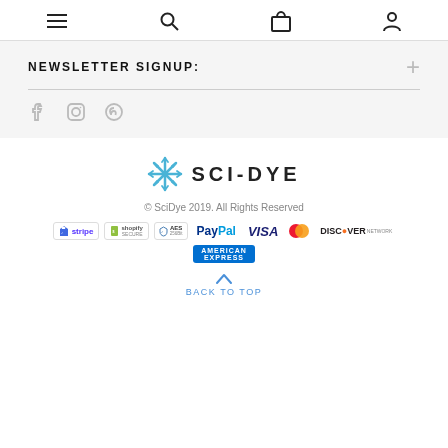Navigation bar with menu, search, cart, and account icons
NEWSLETTER SIGNUP:
[Figure (other): Social media icons: Facebook, Instagram, Pinterest]
[Figure (logo): SCI-DYE brand logo with snowflake/asterisk icon in blue and brand name in bold]
© SciDye 2019. All Rights Reserved
[Figure (other): Payment method logos: Stripe, Shopify Secure, AES 256Bit, PayPal, VISA, Mastercard, Discover Network, American Express]
BACK TO TOP